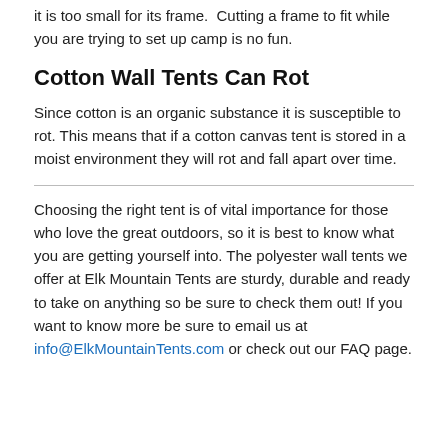it is too small for its frame. Cutting a frame to fit while you are trying to set up camp is no fun.
Cotton Wall Tents Can Rot
Since cotton is an organic substance it is susceptible to rot. This means that if a cotton canvas tent is stored in a moist environment they will rot and fall apart over time.
Choosing the right tent is of vital importance for those who love the great outdoors, so it is best to know what you are getting yourself into. The polyester wall tents we offer at Elk Mountain Tents are sturdy, durable and ready to take on anything so be sure to check them out! If you want to know more be sure to email us at info@ElkMountainTents.com or check out our FAQ page.